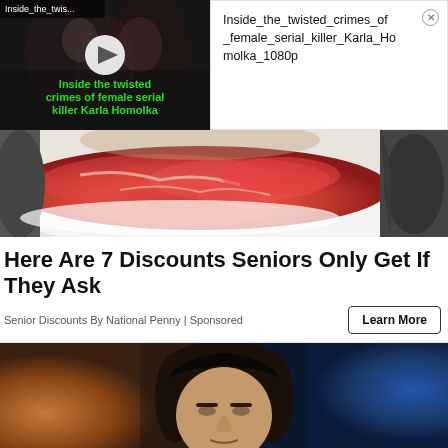[Figure (screenshot): Video thumbnail with play button showing text 'Inside_the_twis...' and overlay text 'Inside the twisted crimes of female serial killer Karla Homolka' in green]
Inside_the_twisted_crimes_of_female_serial_killer_Karla_Homolka_1080p
[Figure (photo): Close-up photo of raw red meat (beef) being held, on a white tray/surface]
Here Are 7 Discounts Seniors Only Get If They Ask
Senior Discounts By National Penny | Sponsored
Learn More
[Figure (photo): Photo of a dark-haired person (face visible) against a warm orange-brown and blue background]